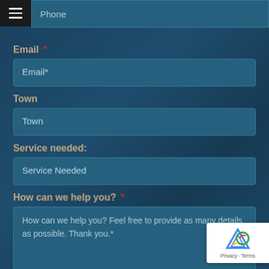Phone
Email *
Email*
Town
Town
Service needed:
Service Needed
How can we help you? *
How can we help you? Feel free to provide as many details as possible. Thank you.*